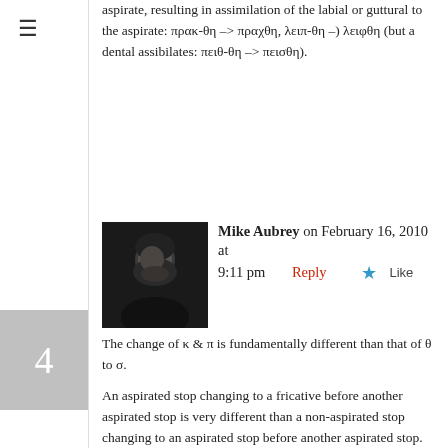aspirate, resulting in assimilation of the labial or guttural to the aspirate: πρακ-θη –> πραχθη, λειπ-θη –) λειφθη (but a dental assibilates: πειθ-θη –> πεισθη.
4
Mike Aubrey on February 16, 2010 at 9:11 pm  Reply  Like
[Figure (photo): Black and white portrait photo of Mike Aubrey]
The change of κ & π is fundamentally different than that of θ to σ.
An aspirated stop changing to a fricative before another aspirated stop is very different than a non-aspirated stop changing to an aspirated stop before another aspirated stop.
To put it another way, the change: [prak-tʰe] –> [prakʰtʰ] makes absolutely no phonological sense. It makes far, far more